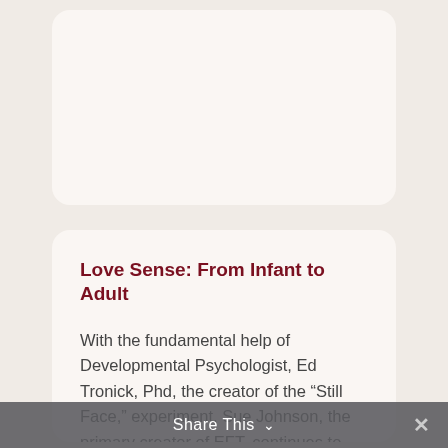[Figure (other): Top card placeholder — partially visible white/cream rounded rectangle card]
Love Sense: From Infant to Adult
With the fundamental help of Developmental Psychologist, Ed Tronick, Phd, the creator of the “Still Face,” experiment, Sue Johnson, the primary creator of EFT, continues to show us how the power of emotion organizes moments of disconnection and connection from infancy to the grave. A must view!
Share This ⌄ ×